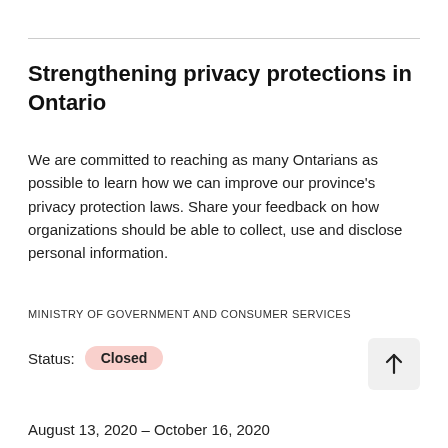Strengthening privacy protections in Ontario
We are committed to reaching as many Ontarians as possible to learn how we can improve our province's privacy protection laws. Share your feedback on how organizations should be able to collect, use and disclose personal information.
MINISTRY OF GOVERNMENT AND CONSUMER SERVICES
Status: Closed
August 13, 2020 – October 16, 2020